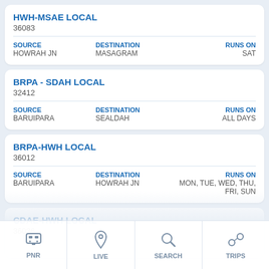HWH-MSAE LOCAL
36083
| SOURCE | DESTINATION | RUNS ON |
| --- | --- | --- |
| HOWRAH JN | MASAGRAM | SAT |
BRPA - SDAH LOCAL
32412
| SOURCE | DESTINATION | RUNS ON |
| --- | --- | --- |
| BARUIPARA | SEALDAH | ALL DAYS |
BRPA-HWH LOCAL
36012
| SOURCE | DESTINATION | RUNS ON |
| --- | --- | --- |
| BARUIPARA | HOWRAH JN | MON, TUE, WED, THU, FRI, SUN |
CDAE-HWH LOCAL
36036
PNR  LIVE  SEARCH  TRIPS